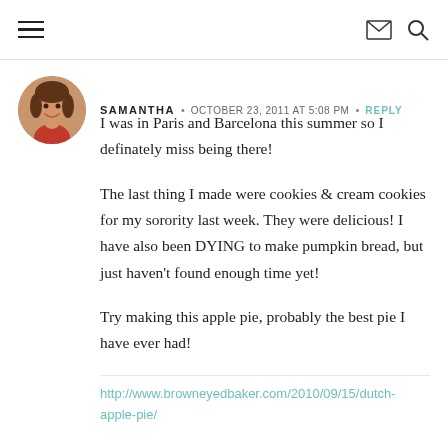Navigation header with hamburger menu, email icon, and search icon
SAMANTHA • OCTOBER 23, 2011 AT 5:08 PM • REPLY
I was in Paris and Barcelona this summer so I definately miss being there!
The last thing I made were cookies & cream cookies for my sorority last week. They were delicious! I have also been DYING to make pumpkin bread, but just haven't found enough time yet!
Try making this apple pie, probably the best pie I have ever had!
http://www.browneyedbaker.com/2010/09/15/dutch-apple-pie/